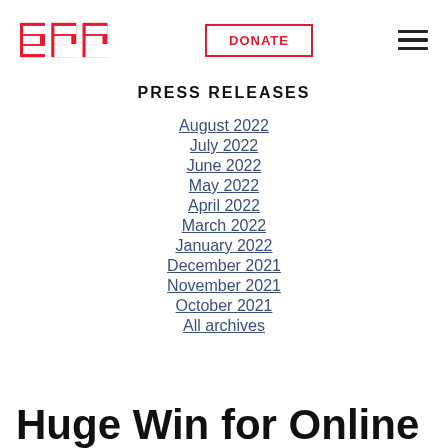EFF | DONATE | Navigation menu
PRESS RELEASES
August 2022
July 2022
June 2022
May 2022
April 2022
March 2022
January 2022
December 2021
November 2021
October 2021
All archives
Huge Win for Online